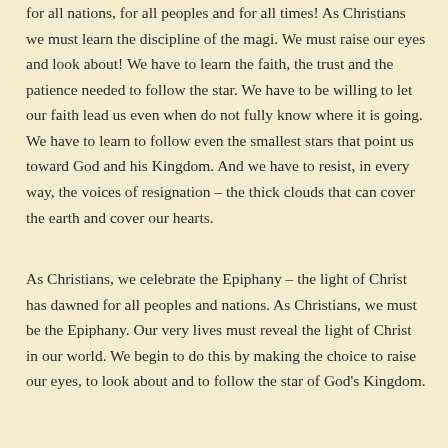for all nations, for all peoples and for all times!  As Christians we must learn the discipline of the magi.  We must raise our eyes and look about!  We have to learn the faith, the trust and the patience needed to follow the star.  We have to be willing to let our faith lead us even when do not fully know where it is going.  We have to learn to follow even the smallest stars that point us toward God and his Kingdom.  And we have to resist, in every way, the voices of resignation – the thick clouds that can cover the earth and cover our hearts.
As Christians, we celebrate the Epiphany – the light of Christ has dawned for all peoples and nations. As Christians, we must be the Epiphany.  Our very lives must reveal the light of Christ in our world.  We begin to do this by making the choice to raise our eyes, to look about and to follow the star of God's Kingdom.